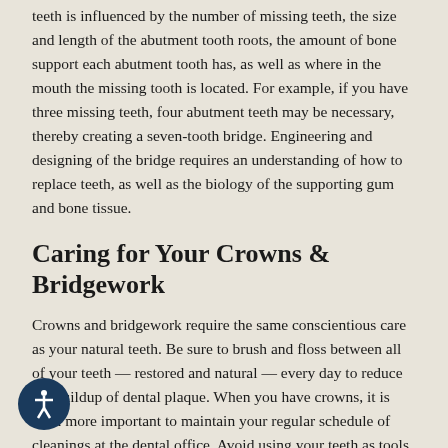The number of abutment teeth necessary to replace missing teeth is influenced by the number of missing teeth, the size and length of the abutment tooth roots, the amount of bone support each abutment tooth has, as well as where in the mouth the missing tooth is located. For example, if you have three missing teeth, four abutment teeth may be necessary, thereby creating a seven-tooth bridge. Engineering and designing of the bridge requires an understanding of how to replace teeth, as well as the biology of the supporting gum and bone tissue.
Caring for Your Crowns & Bridgework
Crowns and bridgework require the same conscientious care as your natural teeth. Be sure to brush and floss between all of your teeth — restored and natural — every day to reduce the buildup of dental plaque. When you have crowns, it is even more important to maintain your regular schedule of cleanings at the dental office. Avoid using your teeth as tools (to open packages, for example). If you have a grinding habit, wearing a guard would be a good idea to protect your teeth and your investment.